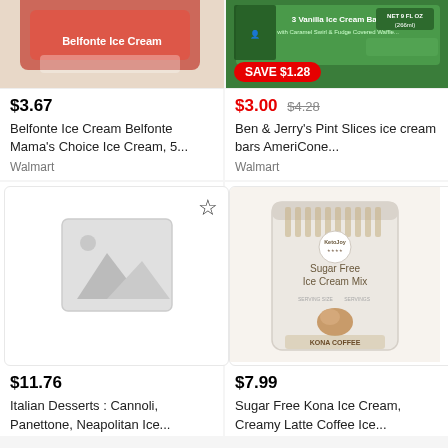[Figure (photo): Partial top image of Belfonte Ice Cream product]
[Figure (photo): Ben & Jerry's Pint Slices ice cream bars package with SAVE $1.28 badge]
$3.67
$3.00  $4.28
Belfonte Ice Cream Belfonte Mama's Choice Ice Cream, 5...
Ben & Jerry's Pint Slices ice cream bars AmeriCone...
Walmart
Walmart
[Figure (photo): Placeholder image with mountain/image icon and star bookmark icon]
[Figure (photo): Sugar Free Kona Ice Cream Mix bag product photo by KetoJoy]
$11.76
$7.99
Italian Desserts : Cannoli, Panettone, Neapolitan Ice...
Sugar Free Kona Ice Cream, Creamy Latte Coffee Ice...